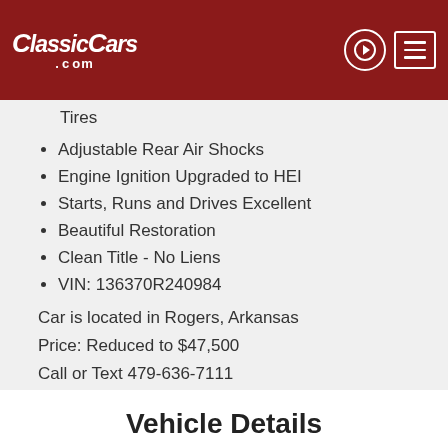ClassicCars.com
Tires
Adjustable Rear Air Shocks
Engine Ignition Upgraded to HEI
Starts, Runs and Drives Excellent
Beautiful Restoration
Clean Title - No Liens
VIN: 136370R240984
Car is located in Rogers, Arkansas
Price: Reduced to $47,500
Call or Text 479-636-7111
[Figure (logo): Accessibility icon - circular black badge with wheelchair user symbol]
Vehicle Details